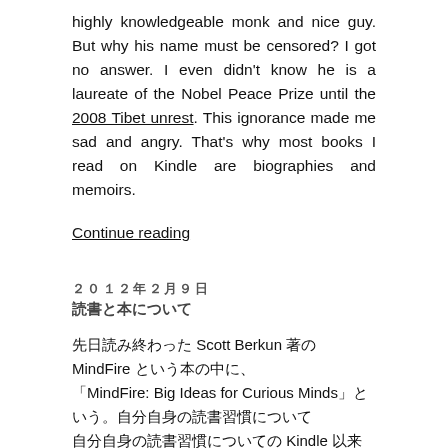highly knowledgeable monk and nice guy. But why his name must be censored? I got no answer. I even didn't know he is a laureate of the Nobel Peace Prize until the 2008 Tibet unrest. This ignorance made me sad and angry. That's why most books I read on Kindle are biographies and memoirs.
Continue reading
２０１２年２月９日
読書と本について
先日読み終わった Scott Berkun 著の MindFire という本の中に、「MindFire: Big Ideas for Curious Minds」という。自分自身の読書習慣について Kindle 以来
本という存在の意味と価値について改めて考えさせられる機会があった中で、「読書